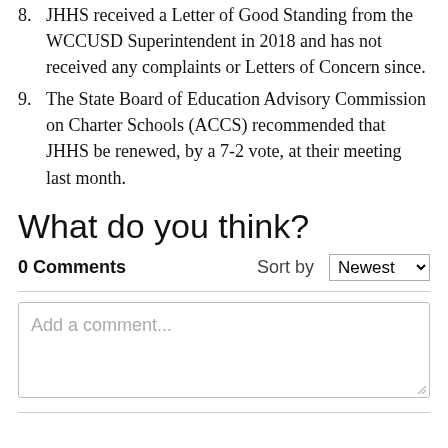8. JHHS received a Letter of Good Standing from the WCCUSD Superintendent in 2018 and has not received any complaints or Letters of Concern since.
9. The State Board of Education Advisory Commission on Charter Schools (ACCS) recommended that JHHS be renewed, by a 7-2 vote, at their meeting last month.
What do you think?
0 Comments    Sort by  Newest
Add a comment...